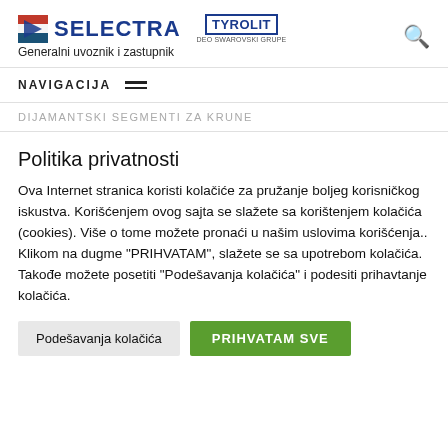[Figure (logo): Selectra logo with stylized flag icon and Tyrolit logo with 'deo SWAROVSKI Grupe' text, plus a search icon]
NAVIGACIJA
DIJAMANTSKI SEGMENTI ZA KRUNE
Politika privatnosti
Ova Internet stranica koristi kolačiće za pružanje boljeg korisničkog iskustva. Korišćenjem ovog sajta se slažete sa korištenjem kolačića (cookies). Više o tome možete pronaći u našim uslovima korišćenja.. Klikom na dugme "PRIHVATAM", slažete se sa upotrebom kolačića. Takođe možete posetiti "Podešavanja kolačića" i podesiti prihavtanje kolačića.
Podešavanja kolačića | PRIHVATAM SVE